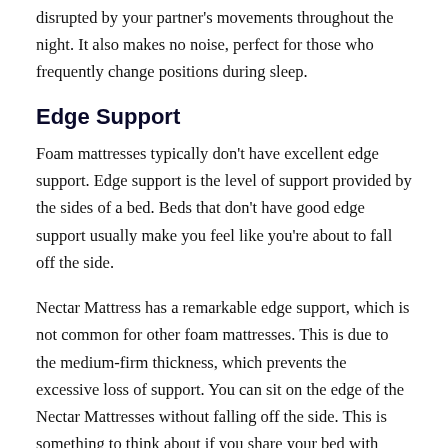disrupted by your partner's movements throughout the night. It also makes no noise, perfect for those who frequently change positions during sleep.
Edge Support
Foam mattresses typically don't have excellent edge support. Edge support is the level of support provided by the sides of a bed. Beds that don't have good edge support usually make you feel like you're about to fall off the side.
Nectar Mattress has a remarkable edge support, which is not common for other foam mattresses. This is due to the medium-firm thickness, which prevents the excessive loss of support. You can sit on the edge of the Nectar Mattresses without falling off the side. This is something to think about if you share your bed with someone.
Pressure relief